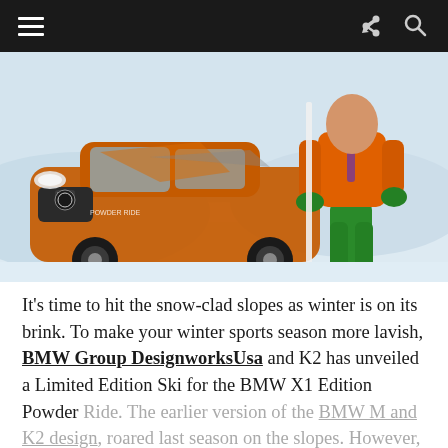Navigation bar with hamburger menu, share icon, and search icon
[Figure (photo): An orange BMW X1 Edition Powder Ride with custom graphics parked in snow, next to a person wearing an orange ski jacket and green ski pants, holding skis. Snowy mountain background.]
It’s time to hit the snow-clad slopes as winter is on its brink. To make your winter sports season more lavish, BMW Group DesignworksUsa and K2 has unveiled a Limited Edition Ski for the BMW X1 Edition Powder Ride. The earlier version of the BMW M and K2 design, roared last season on the slopes. However, this year,